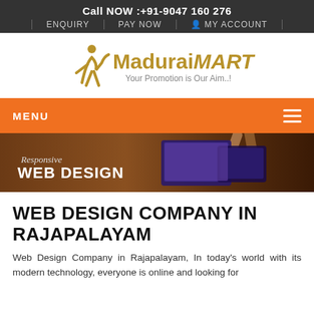Call NOW :+91-9047 160 276
ENQUIRY | PAY NOW | MY ACCOUNT
[Figure (logo): MaduraiMART logo with stylized M figure and tagline 'Your Promotion is Our Aim..!']
MENU
[Figure (photo): Banner image showing responsive web design devices with text 'Responsive WEB DESIGN']
WEB DESIGN COMPANY IN RAJAPALAYAM
Web Design Company in Rajapalayam, In today's world with its modern technology, everyone is online and looking for